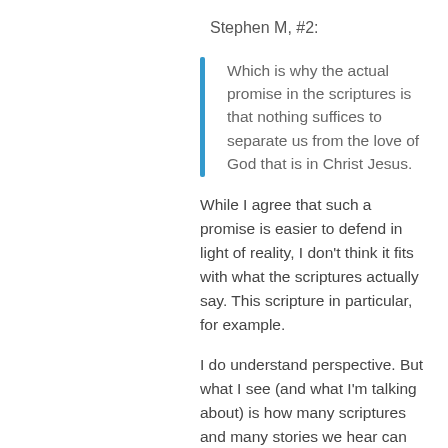Stephen M, #2:
Which is why the actual promise in the scriptures is that nothing suffices to separate us from the love of God that is in Christ Jesus.
While I agree that such a promise is easier to defend in light of reality, I don't think it fits with what the scriptures actually say. This scripture in particular, for example.
I do understand perspective. But what I see (and what I'm talking about) is how many scriptures and many stories we hear can actually harm our faith. The quoted scripture doesn't say:
And what it apparently called the Father…